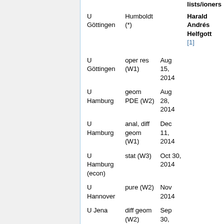|  |  |  | lists/ioners |
| --- | --- | --- | --- |
| U Göttingen | Humboldt (*) |  | Harald Andrés Helfgott [1] |
| U Göttingen | oper res (W1) | Aug 15, 2014 |  |
| U Hamburg | geom PDE (W2) | Aug 28, 2014 |  |
| U Hamburg | anal, diff geom (W1) | Dec 11, 2014 |  |
| U Hamburg (econ) | stat (W3) | Oct 30, 2014 |  |
| U Hannover | pure (W2) | Nov 2014 |  |
| U Jena | diff geom (W2) | Sep 30, 2014 |  |
| U Jena | opt (W2) | Sep 30, 2014 |  |